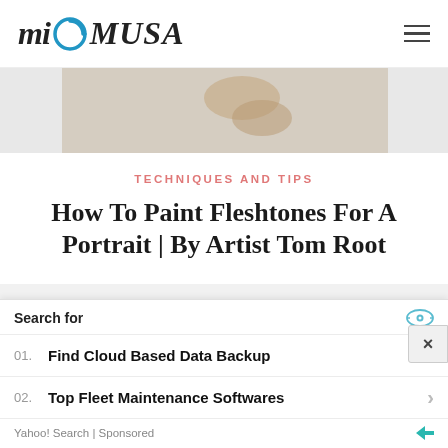mi MUSA
[Figure (photo): Close-up of a painted canvas showing a hand in fleshtones]
TECHNIQUES AND TIPS
How To Paint Fleshtones For A Portrait | By Artist Tom Root
[Figure (photo): Painting of a dramatic scene with figures and aircraft in blue sky]
Search for
01. Find Cloud Based Data Backup
02. Top Fleet Maintenance Softwares
Yahoo! Search | Sponsored